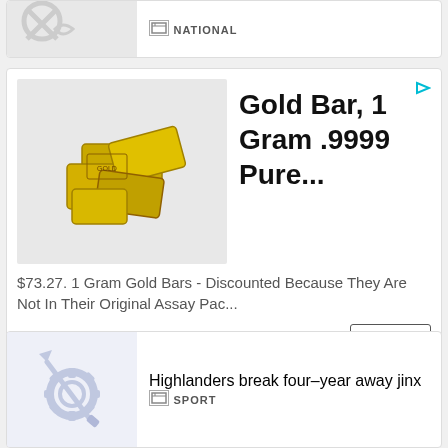[Figure (screenshot): Partial news card at top with grey thumbnail and NATIONAL category label]
[Figure (infographic): Advertisement card for Gold Bar 1 Gram .9999 Pure from Money Metals Exchange, $73.27, with a BUY button]
[Figure (screenshot): News card with gear/brush icon thumbnail and headline: Highlanders break four-year away jinx, SPORT category]